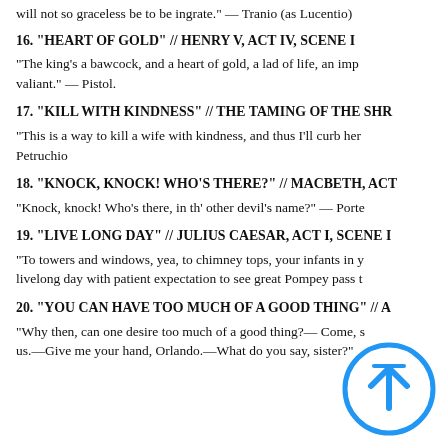will not so graceless be to be ingrate." — Tranio (as Lucentio)
16. "HEART OF GOLD" // HENRY V, ACT IV, SCENE I
"The king's a bawcock, and a heart of gold, a lad of life, an imp of fame, a most valiant." — Pistol.
17. "KILL WITH KINDNESS" // THE TAMING OF THE SHREW
"This is a way to kill a wife with kindness, and thus I'll curb her mad and headstrong humour — Petruchio
18. "KNOCK, KNOCK! WHO'S THERE?" // MACBETH, ACT
"Knock, knock! Who's there, in th' other devil's name?" — Porter
19. "LIVE LONG DAY" // JULIUS CAESAR, ACT I, SCENE I
"To towers and windows, yea, to chimney tops, your infants in your arms, and there have sat the livelong day with patient expectation to see great Pompey pass t
20. "YOU CAN HAVE TOO MUCH OF A GOOD THING" // A
"Why then, can one desire too much of a good thing?— Come, sister, you shall be the priest and marry us.—Give me your hand, Orlando.—What do you say, sister?"